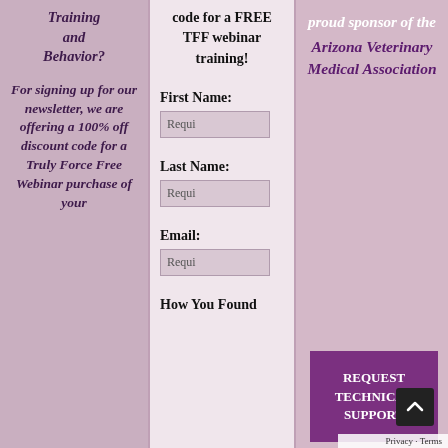Training and Behavior? For signing up for our newsletter, we are offering a 100% off discount code for a Truly Force Free Webinar purchase of your
code for a FREE TFF webinar training!
First Name:
Requi
Last Name:
Requi
Email:
Requi
How You Found
proud sponsor of the Arizona Veterinary Medical Association
REQUEST TECHNICAL SUPPORT
Privacy · Terms